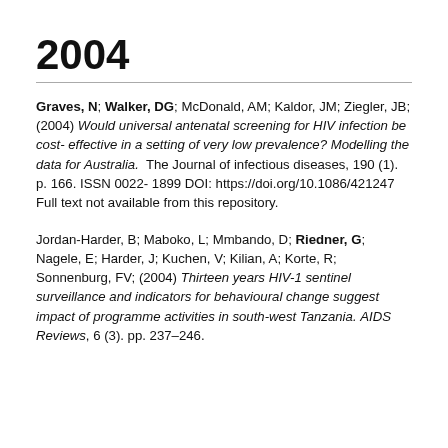2004
Graves, N; Walker, DG; McDonald, AM; Kaldor, JM; Ziegler, JB; (2004) Would universal antenatal screening for HIV infection be cost-effective in a setting of very low prevalence? Modelling the data for Australia. The Journal of infectious diseases, 190 (1). p. 166. ISSN 0022-1899 DOI: https://doi.org/10.1086/421247 Full text not available from this repository.
Jordan-Harder, B; Maboko, L; Mmbando, D; Riedner, G; Nagele, E; Harder, J; Kuchen, V; Kilian, A; Korte, R; Sonnenburg, FV; (2004) Thirteen years HIV-1 sentinel surveillance and indicators for behavioural change suggest impact of programme activities in south-west Tanzania. AIDS Reviews, 6 (3). pp. 237-246.